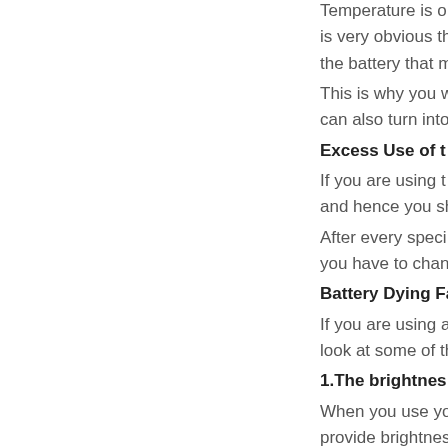Temperature is o
is very obvious that th
the battery that makes
This is why you w
can also turn into an e
Excess Use of t
If you are using t
and hence you shoul
After every speci
you have to change th
Battery Dying Fa
If you are using a
look at some of the re
1.The brightnes
When you use yo
provide brightness to
the brightness high.
2.External Wi-Fi
When your phon